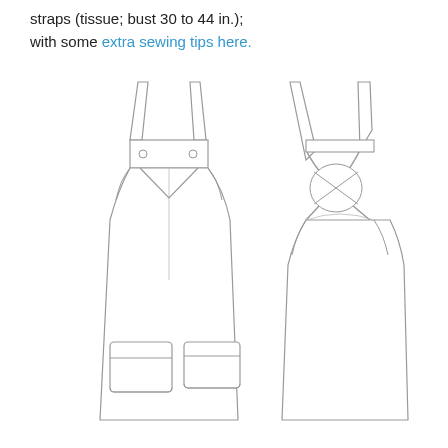straps (tissue; bust 30 to 44 in.); with some extra sewing tips here.
[Figure (illustration): Technical flat drawing of an apron pattern: front view (left) showing bib top with two shoulder straps, button hardware at bib top, curved side seams, two patch pockets at lower front; back view (right) showing crossed straps in an X pattern at back, rounded back armhole cutout, full skirt body matching front length.]